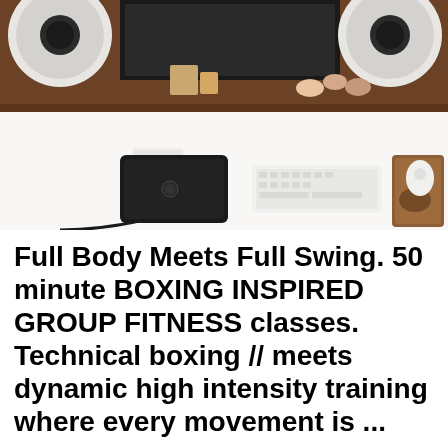[Figure (photo): Overhead top-down view of a clean desk workspace with a large monitor (partially visible at top), two white speaker monitors on each side, a white Apple keyboard, a wooden mouse pad with a white Apple Magic Mouse, a black external hard drive or device, a white coffee mug on a wooden coaster, and a wooden shelf at the back with various small figurines and decorations.]
Full Body Meets Full Swing. 50 minute BOXING INSPIRED GROUP FITNESS classes. Technical boxing // meets dynamic high intensity training where every movement is ...